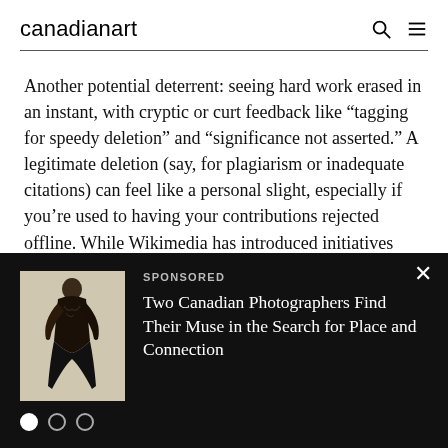canadianart
Another potential deterrent: seeing hard work erased in an instant, with cryptic or curt feedback like “ tagging for speedy deletion” and “significance not asserted.” A legitimate deletion (say, for plagiarism or inadequate citations) can feel like a personal slight, especially if you’re used to having your contributions rejected offline. While Wikimedia has introduced initiatives like the Teahouse, an informal online community for
[Figure (photo): Sponsored ad with photo of a human figure sculpture in dark clothing against a cream background]
SPONSORED
Two Canadian Photographers Find Their Muse in the Search for Place and Connection